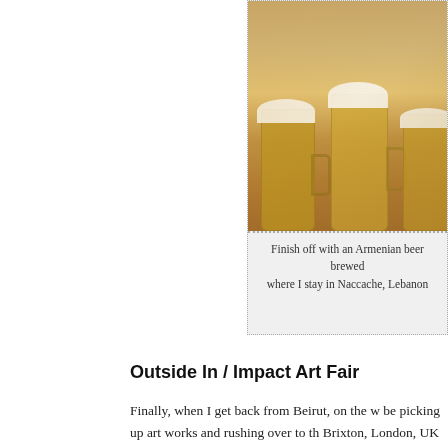[Figure (photo): Photo of beer mugs/glasses with foam, partially cropped on the right side of the page]
Finish off with an Armenian beer brewed where I stay in Naccache, Lebanon
Outside In / Impact Art Fair
Finally, when I get back from Beirut, on the w be picking up art works and rushing over to th Brixton, London, UK to help out with Outside I'm speaking of is Thursday 25th July. I'll enj will!) and then head over and do a little DJ se Brixton. That's the plan anyway, but consideri 4am and nomadically transport myself around